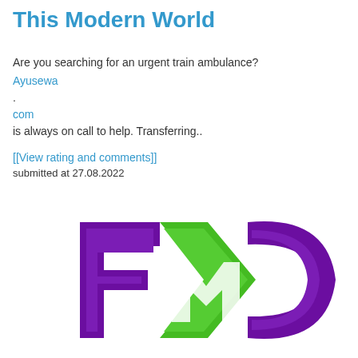This Modern World
Are you searching for an urgent train ambulance? Ayusewa
.
com
is always on call to help. Transferring..
[[View rating and comments]]
submitted at 27.08.2022
[Figure (logo): FMC logo in purple and green colors, stylized letters F, M, C]